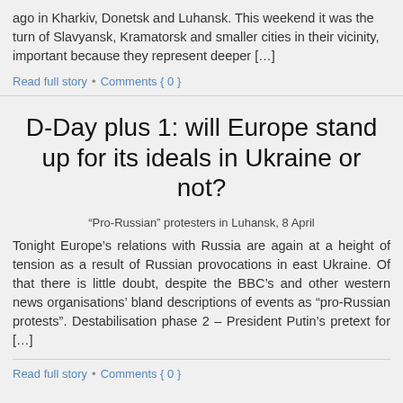ago in Kharkiv, Donetsk and Luhansk. This weekend it was the turn of Slavyansk, Kramatorsk and smaller cities in their vicinity, important because they represent deeper […]
Read full story  •  Comments { 0 }
D-Day plus 1: will Europe stand up for its ideals in Ukraine or not?
“Pro-Russian” protesters in Luhansk, 8 April
Tonight Europe’s relations with Russia are again at a height of tension as a result of Russian provocations in east Ukraine. Of that there is little doubt, despite the BBC’s and other western news organisations’ bland descriptions of events as “pro-Russian protests”. Destabilisation phase 2 – President Putin’s pretext for […]
Read full story  •  Comments { 0 }